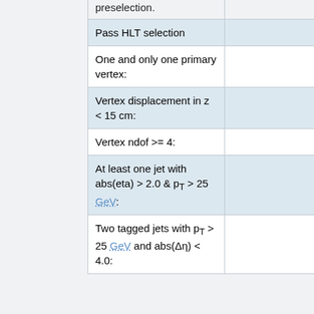| preselection. |  |
| Pass HLT selection |  |
| One and only one primary vertex: |  |
| Vertex displacement in z < 15 cm: |  |
| Vertex ndof >= 4: |  |
| At least one jet with abs(eta) > 2.0 & pT > 25 GeV: |  |
| Two tagged jets with pT > 25 GeV and abs(Δη) < 4.0: |  |